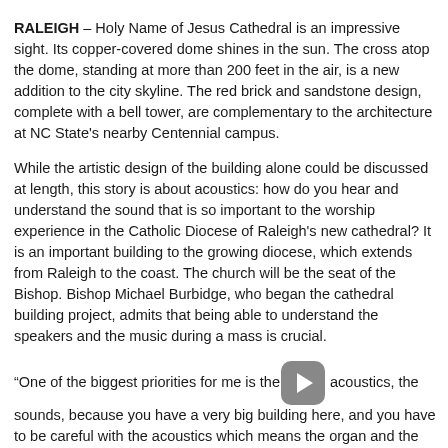RALEIGH – Holy Name of Jesus Cathedral is an impressive sight. Its copper-covered dome shines in the sun. The cross atop the dome, standing at more than 200 feet in the air, is a new addition to the city skyline. The red brick and sandstone design, complete with a bell tower, are complementary to the architecture at NC State's nearby Centennial campus.
While the artistic design of the building alone could be discussed at length, this story is about acoustics: how do you hear and understand the sound that is so important to the worship experience in the Catholic Diocese of Raleigh's new cathedral? It is an important building to the growing diocese, which extends from Raleigh to the coast. The church will be the seat of the Bishop. Bishop Michael Burbidge, who began the cathedral building project, admits that being able to understand the speakers and the music during a mass is crucial.
“One of the biggest priorities for me is the acoustics, the sounds, because you have a very big building here, and you have to be careful with the acoustics which means the organ and the spoken word,” explains Bishop Burbidge. “Because if you have this beautiful building and people can’t hear that would be a frustration, so we are very invested in using the best technology to make sure the sound is perfect.”